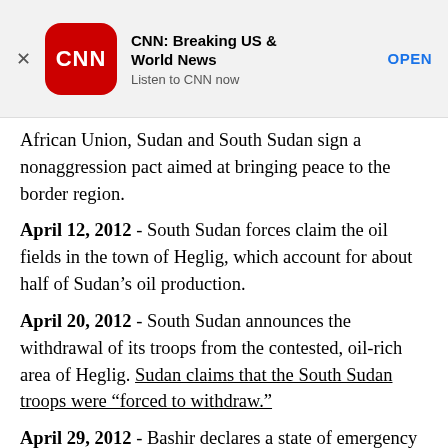[Figure (other): CNN app advertisement banner with CNN logo (red rounded square with white CNN text), app name 'CNN: Breaking US & World News', subtitle 'Listen to CNN now', and OPEN button link]
African Union, Sudan and South Sudan sign a nonaggression pact aimed at bringing peace to the border region.
April 12, 2012 - South Sudan forces claim the oil fields in the town of Heglig, which account for about half of Sudan's oil production.
April 20, 2012 - South Sudan announces the withdrawal of its troops from the contested, oil-rich area of Heglig. Sudan claims that the South Sudan troops were “forced to withdraw.”
April 29, 2012 - Bashir declares a state of emergency for cities in the provinces of South Kordofan, White Nile and Sinnar, which are on the